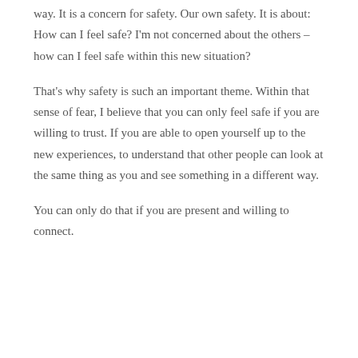way. It is a concern for safety. Our own safety. It is about: How can I feel safe? I'm not concerned about the others – how can I feel safe within this new situation?
That's why safety is such an important theme. Within that sense of fear, I believe that you can only feel safe if you are willing to trust. If you are able to open yourself up to the new experiences, to understand that other people can look at the same thing as you and see something in a different way.
You can only do that if you are present and willing to connect.